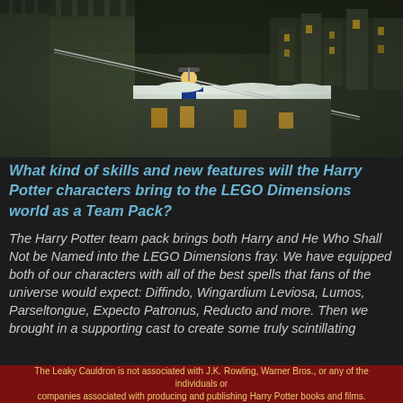[Figure (screenshot): Screenshot of a LEGO Dimensions game showing Hogwarts castle with green brick towers, snow-covered rooftops, warm glowing windows, and a minifigure on a wire/zipline in the center]
What kind of skills and new features will the Harry Potter characters bring to the LEGO Dimensions world as a Team Pack?
The Harry Potter team pack brings both Harry and He Who Shall Not be Named into the LEGO Dimensions fray. We have equipped both of our characters with all of the best spells that fans of the universe would expect: Diffindo, Wingardium Leviosa, Lumos, Parseltongue, Expecto Patronus, Reducto and more. Then we brought in a supporting cast to create some truly scintillating
The Leaky Cauldron is not associated with J.K. Rowling, Warner Bros., or any of the individuals or companies associated with producing and publishing Harry Potter books and films.